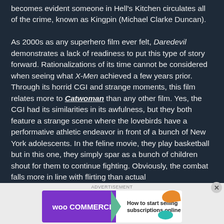becomes evident someone in Hell's Kitchen circulates all of the crime, known as Kingpin (Michael Clarke Duncan).

As 2000s as any superhero film ever felt, Daredevil demonstrates a lack of readiness to put this type of story forward. Rationalizations of its time cannot be considered when seeing what X-Men achieved a few years prior. Through its horrid CGI and strange moments, this film relates more to Catwoman than any other film. Yes, the CGI had its similarities in its awfulness, but they both feature a strange scene where the lovebirds have a performative athletic endeavor in front of a bunch of New York adolescents. In the feline movie, they play basketball but in this one, they simply spar as a bunch of children shout for them to continue fighting. Obviously, the combat falls more in line with flirting than actual
[Figure (other): WooCommerce advertisement banner with purple left section showing WooCommerce logo, white right section with text 'How to start selling subscriptions online', and decorative orange and teal shapes.]